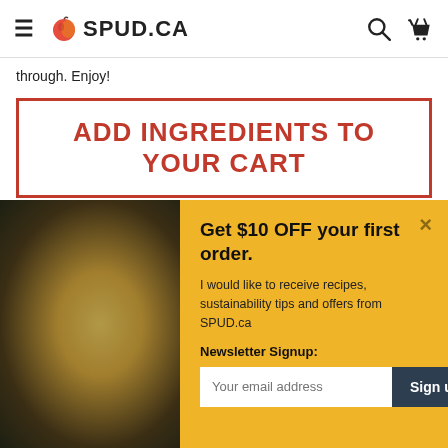SPUD.CA
through. Enjoy!
ADD INGREDIENTS TO YOUR CART
[Figure (photo): Food photo background, dark tones with golden dish]
Get $10 OFF your first order.
I would like to receive recipes, sustainability tips and offers from SPUD.ca
Newsletter Signup:
Your email address  Sign up